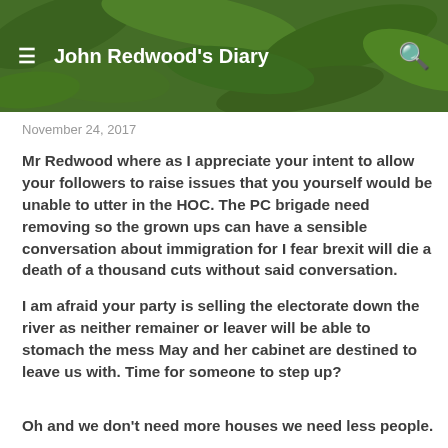John Redwood's Diary
November 24, 2017
Mr Redwood where as I appreciate your intent to allow your followers to raise issues that you yourself would be unable to utter in the HOC. The PC brigade need removing so the grown ups can have a sensible conversation about immigration for I fear brexit will die a death of a thousand cuts without said conversation.
I am afraid your party is selling the electorate down the river as neither remainer or leaver will be able to stomach the mess May and her cabinet are destined to leave us with. Time for someone to step up?
Oh and we don't need more houses we need less people.